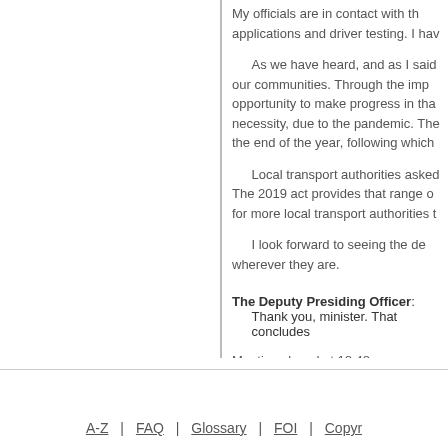My officials are in contact with th... applications and driver testing. I hav...
As we have heard, and as I said... our communities. Through the imp... opportunity to make progress in tha... necessity, due to the pandemic. The... the end of the year, following which...
Local transport authorities asked... The 2019 act provides that range o... for more local transport authorities t...
I look forward to seeing the de... wherever they are.
The Deputy Presiding Officer: Thank you, minister. That concludes...
Meeting closed at 18:48.
A-Z | FAQ | Glossary | FOI | Copyr...